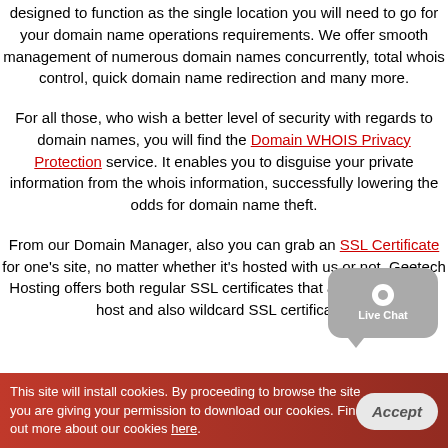designed to function as the single location you will need to go for your domain name operations requirements. We offer smooth management of numerous domain names concurrently, total whois control, quick domain name redirection and many more.
For all those, who wish a better level of security with regards to domain names, you will find the Domain WHOIS Privacy Protection service. It enables you to disguise your private information from the whois information, successfully lowering the odds for domain name theft.
From our Domain Manager, also you can grab an SSL Certificate for one's site, no matter whether it's hosted with us or not. Geetech Hosting offers both regular SSL certificates that are suitable for 1 host and also wildcard SSL certificates
[Figure (other): Live Chat bubble widget in grey with white circle icon and 'Live Chat' label]
This site will install cookies. By proceeding to browse the site you are giving your permission to download our cookies. Find out more about our cookies here. [Accept button]